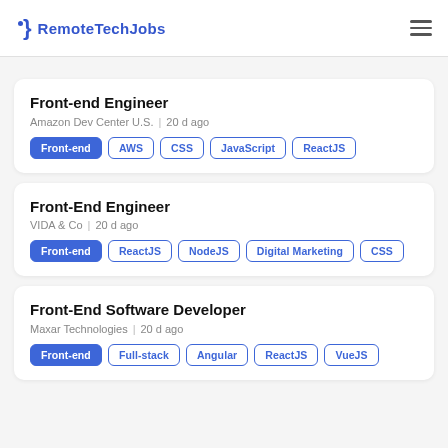RemoteTechJobs
Front-end Engineer
Amazon Dev Center U.S.  |  20 d ago
Front-end  AWS  CSS  JavaScript  ReactJS
Front-End Engineer
VIDA & Co  |  20 d ago
Front-end  ReactJS  NodeJS  Digital Marketing  CSS
Front-End Software Developer
Maxar Technologies  |  20 d ago
Front-end  Full-stack  Angular  ReactJS  VueJS